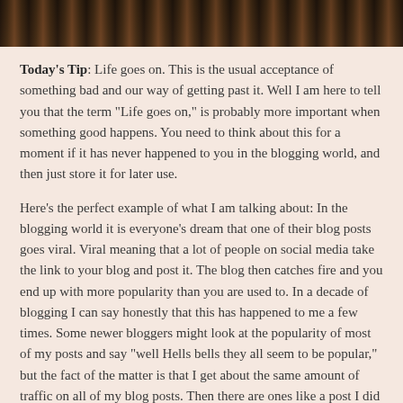[Figure (photo): Top portion of a black and white photo showing what appears to be a typewriter or similar object, cropped at the top of the page]
Today's Tip: Life goes on. This is the usual acceptance of something bad and our way of getting past it. Well I am here to tell you that the term "Life goes on," is probably more important when something good happens. You need to think about this for a moment if it has never happened to you in the blogging world, and then just store it for later use.
Here's the perfect example of what I am talking about: In the blogging world it is everyone's dream that one of their blog posts goes viral. Viral meaning that a lot of people on social media take the link to your blog and post it. The blog then catches fire and you end up with more popularity than you are used to. In a decade of blogging I can say honestly that this has happened to me a few times. Some newer bloggers might look at the popularity of most of my posts and say "well Hells bells they all seem to be popular," but the fact of the matter is that I get about the same amount of traffic on all of my blog posts. Then there are ones like a post I did yesterday in a different blog that just goes crazy. Now what?